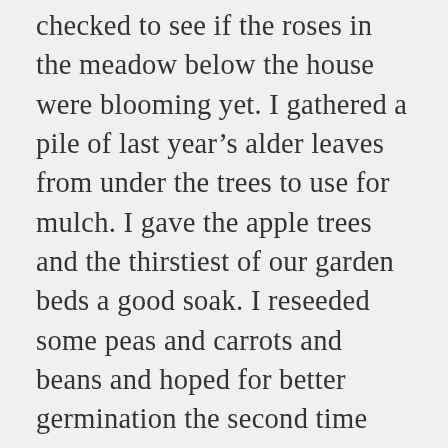checked to see if the roses in the meadow below the house were blooming yet. I gathered a pile of last year's alder leaves from under the trees to use for mulch. I gave the apple trees and the thirstiest of our garden beds a good soak. I reseeded some peas and carrots and beans and hoped for better germination the second time around. More than once I stopped to peek under the straw that's covering the new garden bed I made a couple of weeks ago out of layers of manure, dried grasses, cardboard, weeds that hadn't yet gone to seed, dirt, and compost. Already it had come alive with spiders and insects and microbes. Earthworms had moved in and started the work of churning and mixing it all together,